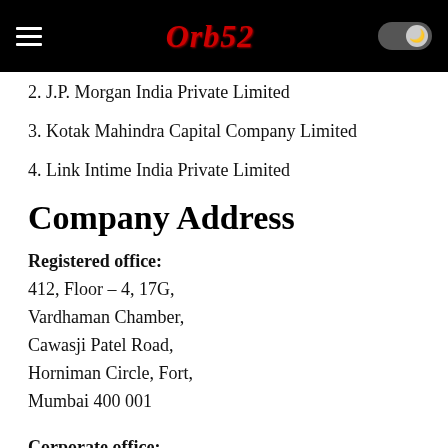Orb52
2. J.P. Morgan India Private Limited
3. Kotak Mahindra Capital Company Limited
4. Link Intime India Private Limited
Company Address
Registered office:
412, Floor – 4, 17G,
Vardhaman Chamber,
Cawasji Patel Road,
Horniman Circle, Fort,
Mumbai 400 001
Corporate office:
Lodha Excelus,